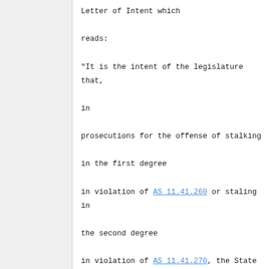Letter of Intent which reads: "It is the intent of the legislature that, in prosecutions for the offense of stalking in the first degree in violation of AS 11.41.260 or staling in the second degree in violation of AS 11.41.270, the State of alaska must prove beyond a reasonable doubt that the victim was placed in actual fear of death or physical injury by the defendant's course of conduct. This gives the same meaning to the phrase "recklessly places another person in fear" as given to that